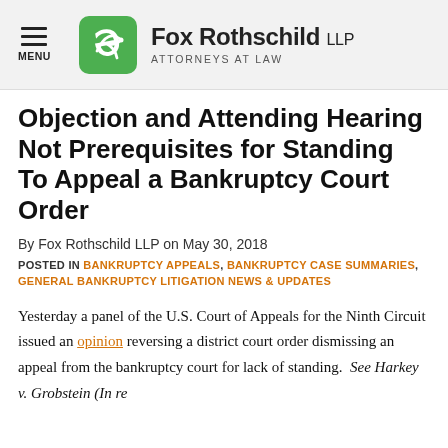Fox Rothschild LLP — ATTORNEYS AT LAW
Objection and Attending Hearing Not Prerequisites for Standing To Appeal a Bankruptcy Court Order
By Fox Rothschild LLP on May 30, 2018
POSTED IN BANKRUPTCY APPEALS, BANKRUPTCY CASE SUMMARIES, GENERAL BANKRUPTCY LITIGATION NEWS & UPDATES
Yesterday a panel of the U.S. Court of Appeals for the Ninth Circuit issued an opinion reversing a district court order dismissing an appeal from the bankruptcy court for lack of standing. See Harkey v. Grobstein (In re